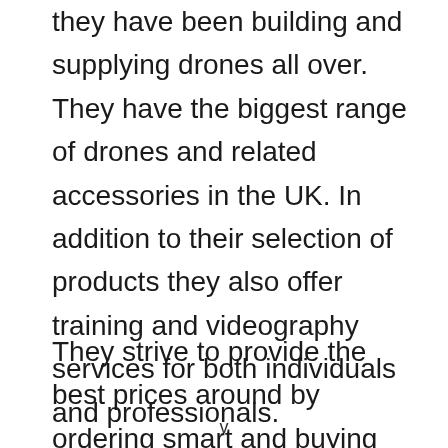they have been building and supplying drones all over. They have the biggest range of drones and related accessories in the UK. In addition to their selection of products they also offer training and videography services for both individuals and professionals.
They strive to provide the best prices around by ordering smart and buying high
v